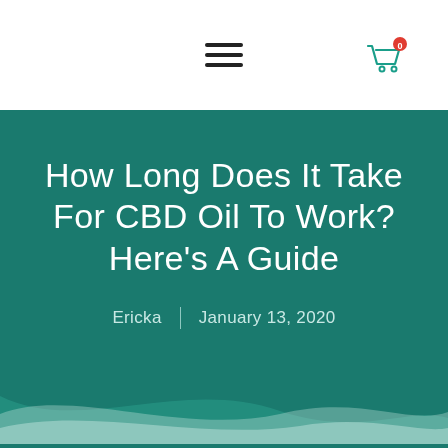How Long Does It Take For CBD Oil To Work? Here’s A Guide
Ericka | January 13, 2020